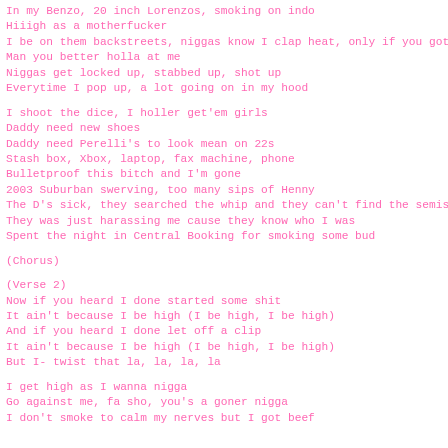In my Benzo, 20 inch Lorenzos, smoking on indo
Hiiigh as a motherfucker
I be on them backstreets, niggas know I clap heat, only if you got b
Man you better holla at me
Niggas get locked up, stabbed up, shot up
Everytime I pop up, a lot going on in my hood
I shoot the dice, I holler get'em girls
Daddy need new shoes
Daddy need Perelli's to look mean on 22s
Stash box, Xbox, laptop, fax machine, phone
Bulletproof this bitch and I'm gone
2003 Suburban swerving, too many sips of Henny
The D's sick, they searched the whip and they can't find the semis
They was just harassing me cause they know who I was
Spent the night in Central Booking for smoking some bud
(Chorus)
(Verse 2)
Now if you heard I done started some shit
It ain't because I be high (I be high, I be high)
And if you heard I done let off a clip
It ain't because I be high (I be high, I be high)
But I- twist that la, la, la, la
I get high as I wanna nigga
Go against me, fa sho, you's a goner nigga
I don't smoke to calm my nerves but I got beef